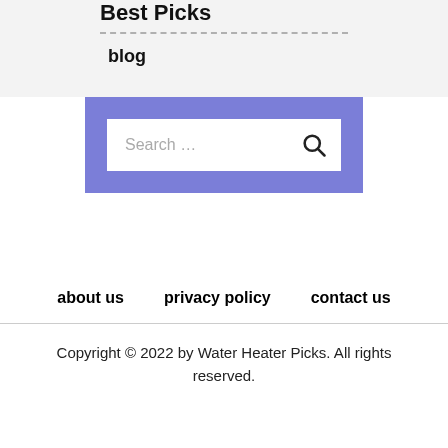Best Picks
blog
[Figure (other): Search widget with a text input field and search icon button on a purple/indigo background]
about us
privacy policy
contact us
Copyright © 2022 by Water Heater Picks. All rights reserved.